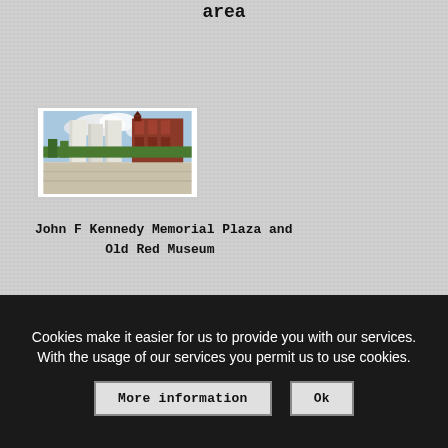area
[Figure (photo): Outdoor photo of John F Kennedy Memorial Plaza showing tall white concrete walls/panels and a historic red brick building (Old Red Museum) in the background, with trees and open plaza area.]
John F Kennedy Memorial Plaza and Old Red Museum
Cookies make it easier for us to provide you with our services. With the usage of our services you permit us to use cookies.
More information
Ok